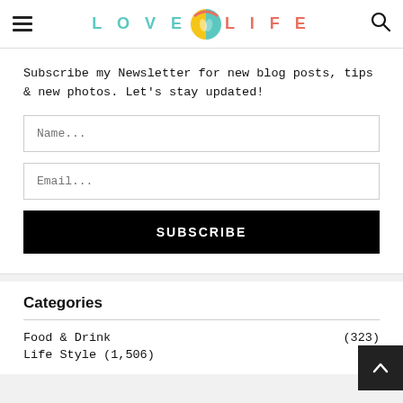LOVE LIFE
Subscribe my Newsletter for new blog posts, tips & new photos. Let's stay updated!
Name...
Email...
SUBSCRIBE
Categories
Food & Drink (323)
Life Style (1,506)